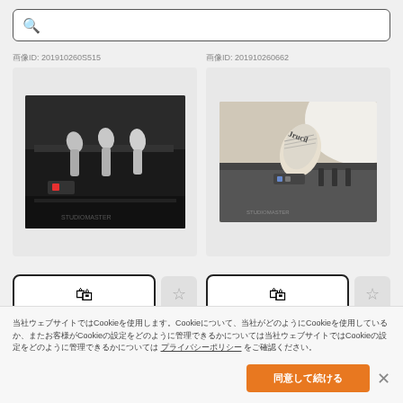Search bar with placeholder text
画像ID: 201910260S515
画像ID: 201910260662
[Figure (photo): Close-up photo of printing machine nozzles/heads on dark background]
[Figure (photo): Close-up photo of a rolled newspaper coming out of printing machine]
2019年10月17日
2019年10月17日
当社ウェブサイトではCookieを使用します。Cookieについて、当社がどのようにCookieを使用しているか、またお客様がCookieの設定をどのように管理できるかについては プライバシーポリシー をご確認ください。
同意して続ける